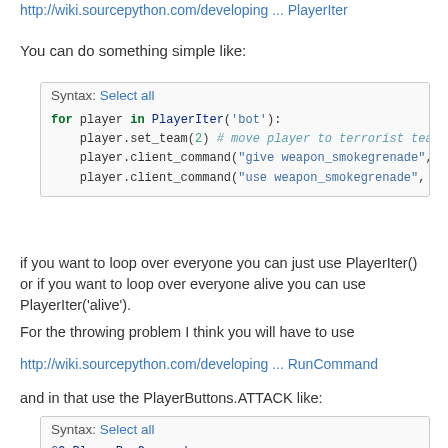http://wiki.sourcepython.com/developing ... PlayerIter
You can do something simple like:
Syntax: Select all
for player in PlayerIter('bot'):
    player.set_team(2) # move player to terrorist team
    player.client_command("give weapon_smokegrenade", T
    player.client_command("use weapon_smokegrenade", Tr
if you want to loop over everyone you can just use PlayerIter() or if you want to loop over everyone alive you can use PlayerIter('alive').
For the throwing problem I think you will have to use
http://wiki.sourcepython.com/developing ... RunCommand
and in that use the PlayerButtons.ATTACK like:
Syntax: Select all
@OnPlayerRunCommand
def on_player_run_command(player, user_cmd):